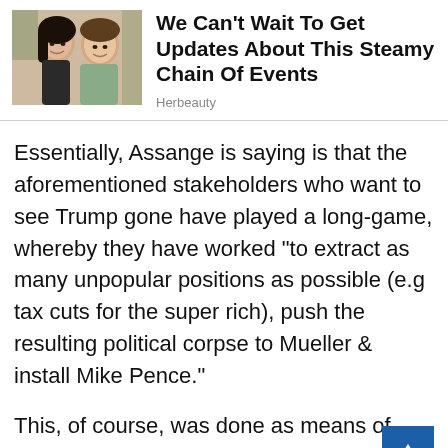[Figure (photo): Couple selfie photo (woman and man together)]
We Can’t Wait To Get Updates About This Steamy Chain Of Events
Herbeauty
Essentially, Assange is saying is that the aforementioned stakeholders who want to see Trump gone have played a long-game, whereby they have worked “to extract as many unpopular positions as possible (e.g tax cuts for the super rich), push the resulting political corpse to Mueller & install Mike Pence.”
This, of course, was done as means of severing Trump from his political base,